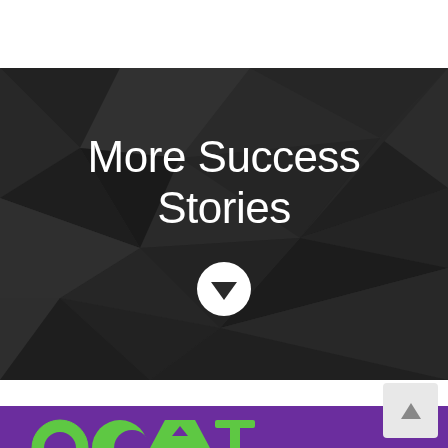[Figure (illustration): Dark geometric polygon/faceted background banner with white text 'More Success Stories' and a white circle with downward arrow icon]
More Success Stories
[Figure (logo): Purple bar at bottom with green cat/animal logo text (Ocat or similar brand)]